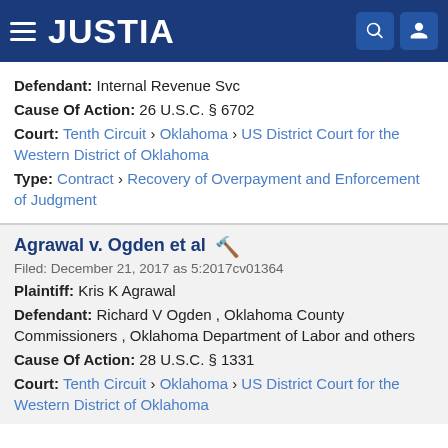JUSTIA
Defendant: Internal Revenue Svc
Cause Of Action: 26 U.S.C. § 6702
Court: Tenth Circuit › Oklahoma › US District Court for the Western District of Oklahoma
Type: Contract › Recovery of Overpayment and Enforcement of Judgment
Agrawal v. Ogden et al
Filed: December 21, 2017 as 5:2017cv01364
Plaintiff: Kris K Agrawal
Defendant: Richard V Ogden , Oklahoma County Commissioners , Oklahoma Department of Labor and others
Cause Of Action: 28 U.S.C. § 1331
Court: Tenth Circuit › Oklahoma › US District Court for the Western District of Oklahoma